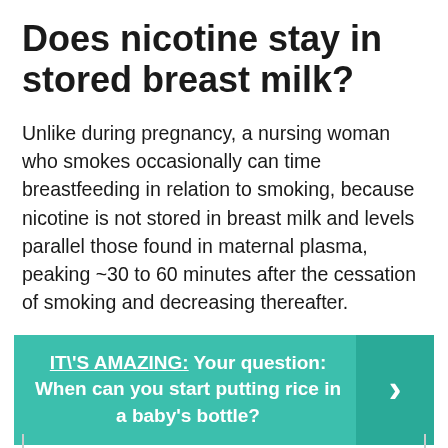Does nicotine stay in stored breast milk?
Unlike during pregnancy, a nursing woman who smokes occasionally can time breastfeeding in relation to smoking, because nicotine is not stored in breast milk and levels parallel those found in maternal plasma, peaking ~30 to 60 minutes after the cessation of smoking and decreasing thereafter.
IT\'S AMAZING: Your question: When can you start putting rice in a baby's bottle?